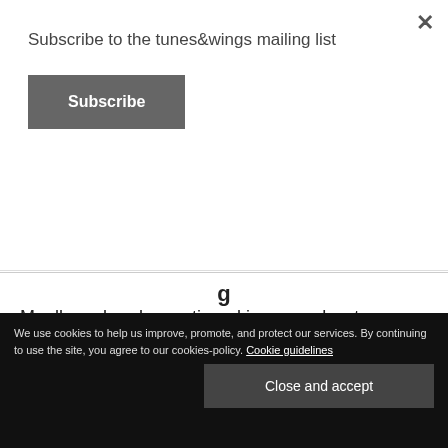Subscribe to the tunes&wings mailing list
Subscribe
Muallem already mentioned in our podcast interview in October:
'Right now a lot is happening in the electronic music scene in Munich and there is no need for the scene and artists to hide as compared to international
We use cookies to help us improve, promote, and protect our services. By continuing to use the site, you agree to our cookies-policy. Cookie guidelines
Close and accept